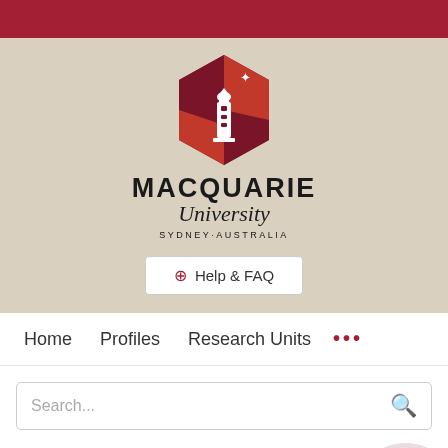[Figure (logo): Macquarie University logo with hexagonal shield containing lighthouse and star, red and dark red triangular sections, above wordmark reading MACQUARIE University SYDNEY·AUSTRALIA]
⊕ Help & FAQ
Home    Profiles    Research Units    •••
Search...
Ultraviolet signals ultra-aggression in a lizard